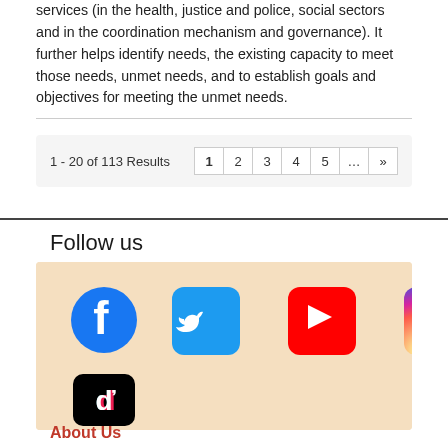services (in the health, justice and police, social sectors and in the coordination mechanism and governance). It further helps identify needs, the existing capacity to meet those needs, unmet needs, and to establish goals and objectives for meeting the unmet needs.
1 - 20 of 113 Results
Follow us
[Figure (infographic): Social media icons on a beige/peach background: Facebook (blue circle with f), Twitter (blue rounded square with bird), YouTube (red rounded square with play button), Instagram (gradient rounded square with camera), TikTok (black rounded square with TikTok logo)]
About Us